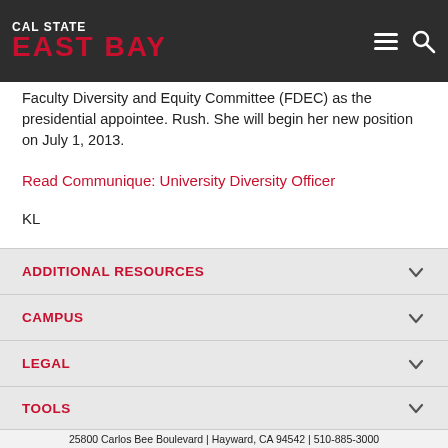[Figure (logo): Cal State East Bay logo in white and red on dark navbar]
Faculty Diversity and Equity Committee (FDEC) as the presidential appointee. Rush. She will begin her new position on July 1, 2013.
Read Communique: University Diversity Officer
KL
ADDITIONAL RESOURCES
CAMPUS
LEGAL
TOOLS
25800 Carlos Bee Boulevard | Hayward, CA 94542 | 510-885-3000